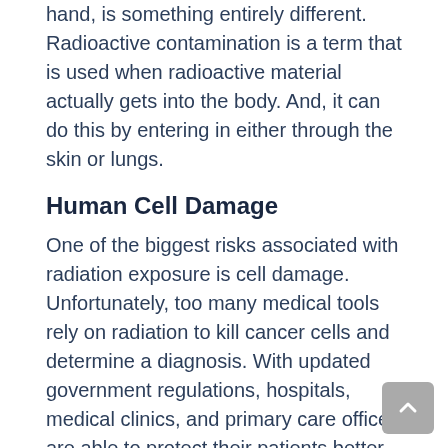Radioactive contamination, on the other hand, is something entirely different. Radioactive contamination is a term that is used when radioactive material actually gets into the body. And, it can do this by entering in either through the skin or lungs.
Human Cell Damage
One of the biggest risks associated with radiation exposure is cell damage. Unfortunately, too many medical tools rely on radiation to kill cancer cells and determine a diagnosis. With updated government regulations, hospitals, medical clinics, and primary care offices are able to protect their patients better. With that said, there is still the risk of mild exposure when